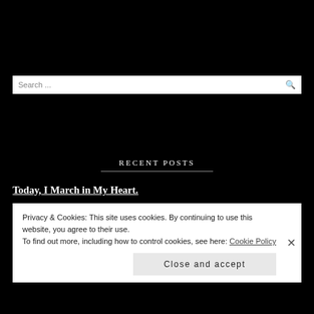Search ...
RECENT POSTS
Today, I March in My Heart.
Joseph & Mary | A Christmas Scandal
Privacy & Cookies: This site uses cookies. By continuing to use this website, you agree to their use.
To find out more, including how to control cookies, see here: Cookie Policy
Close and accept